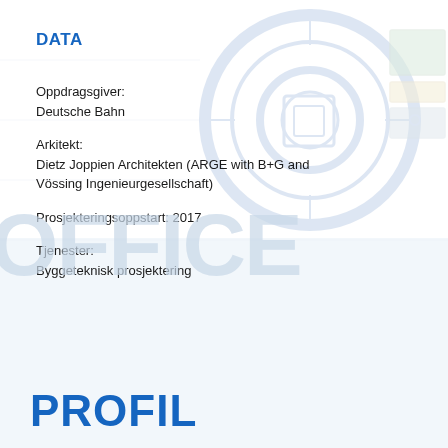[Figure (engineering-diagram): Background technical/engineering circular diagram with blueprint-style schematics and component icons, faded in the upper right portion of the page]
DATA
Oppdragsgiver:
Deutsche Bahn
Arkitekt:
Dietz Joppien Architekten (ARGE with B+G and Vössing Ingenieurgesellschaft)
Prosjekteringsoppstart: 2017
Tjenester:
Byggeteknisk prosjektering
OFFICE
PROFIL